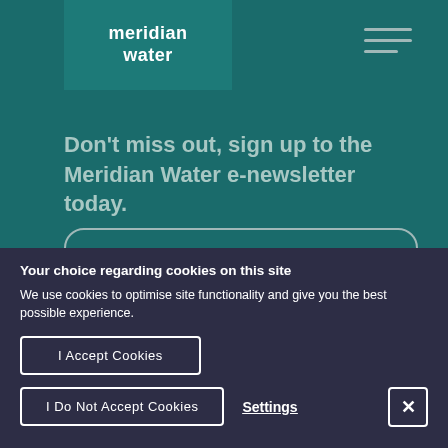[Figure (logo): Meridian Water logo — white bold text on teal rectangle background]
Don’t miss out, sign up to the Meridian Water e-newsletter today.
Your choice regarding cookies on this site
We use cookies to optimise site functionality and give you the best possible experience.
I Accept Cookies
I Do Not Accept Cookies
Settings